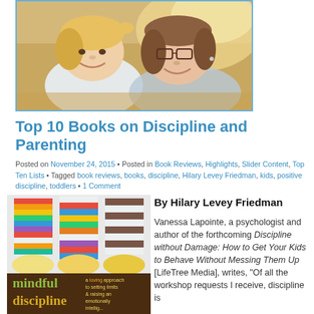[Figure (photo): Photo of a woman wearing glasses and a young girl smiling and touching foreheads together]
Top 10 Books on Discipline and Parenting
Posted on November 24, 2015 • Posted in Book Reviews, Highlights, Slider Content, Top Ten Lists • Tagged book reviews, books, discipline, Hilary Levey Friedman, kids, positive discipline, toddlers • 1 Comment
[Figure (photo): Book cover of 'mindful discipline' with colorful striped socks – a loving approach to setting limits & raising an emotionally intelligent child]
By Hilary Levey Friedman
Vanessa Lapointe, a psychologist and author of the forthcoming Discipline without Damage: How to Get Your Kids to Behave Without Messing Them Up [LifeTree Media], writes, "Of all the workshop requests I receive, discipline is